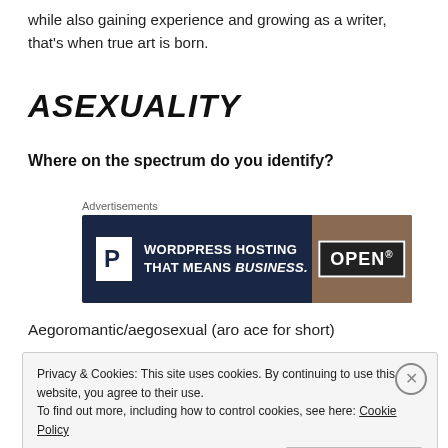while also gaining experience and growing as a writer, that's when true art is born.
ASEXUALITY
Where on the spectrum do you identify?
[Figure (other): Advertisement banner for WordPress Hosting: dark navy background with white P shield icon, text 'WORDPRESS HOSTING THAT MEANS BUSINESS.' and an OPEN sign image on the right.]
Aegoromantic/aegosexual (aro ace for short)
Privacy & Cookies: This site uses cookies. By continuing to use this website, you agree to their use.
To find out more, including how to control cookies, see here: Cookie Policy
Close and accept